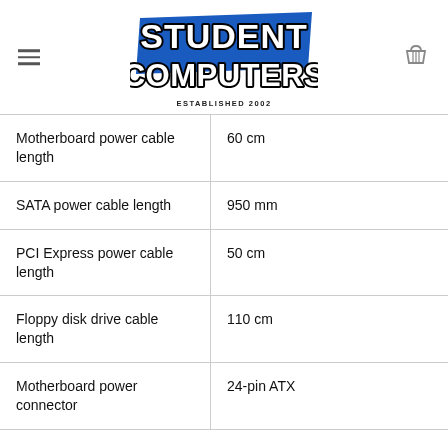[Figure (logo): Student Computers logo: blue tilted rectangle background with bold white text 'STUDENT COMPUTERS' with black shadow/outline, and 'ESTABLISHED 2002' below in small caps]
| Motherboard power cable length | 60 cm |
| SATA power cable length | 950 mm |
| PCI Express power cable length | 50 cm |
| Floppy disk drive cable length | 110 cm |
| Motherboard power connector | 24-pin ATX |